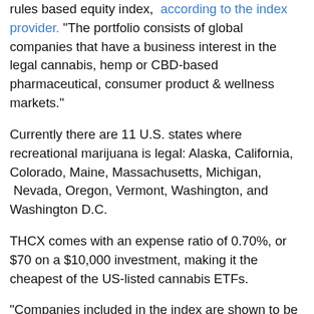rules based equity index, according to the index provider. "The portfolio consists of global companies that have a business interest in the legal cannabis, hemp or CBD-based pharmaceutical, consumer product & wellness markets."
Currently there are 11 U.S. states where recreational marijuana is legal: Alaska, California, Colorado, Maine, Massachusetts, Michigan, Nevada, Oregon, Vermont, Washington, and Washington D.C.
THCX comes with an expense ratio of 0.70%, or $70 on a $10,000 investment, making it the cheapest of the US-listed cannabis ETFs.
"Companies included in the index are shown to be Arena Pharma, Aurora Cannabis, Canopy Growth, Cronos, Hexo, Organigram, PerkinsElmer, PharmaCielo, Scotts MiracleGro, Tilray, Village Farms and others," reports 24/7 Wall Street.
The legal cannabis market in the U.S. is still in its